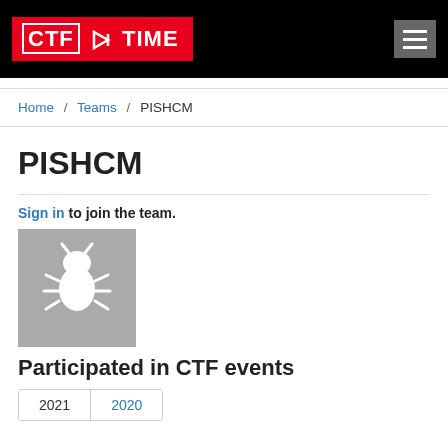CTF TIME [logo/navigation header]
Home / Teams / PISHCM
PISHCM
Sign in to join the team.
[Figure (illustration): Gray square avatar with white bug/robot icon in the center, representing the team PISHCM.]
Participated in CTF events
2021  2020